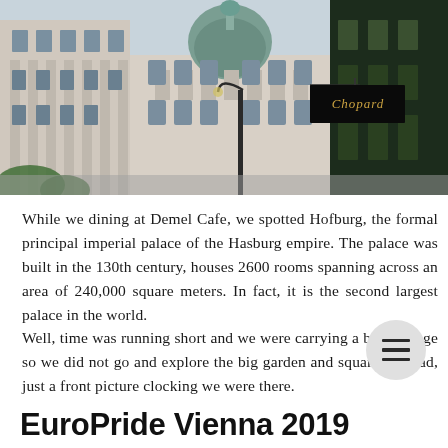[Figure (photo): Street-level photo of Hofburg palace in Vienna, showing ornate baroque architecture with a green dome, a street lamp in the foreground, a Chopard store sign hanging on the right side, and surrounding buildings.]
While we dining at Demel Cafe, we spotted Hofburg, the formal principal imperial palace of the Hasburg empire. The palace was built in the 130th century, houses 2600 rooms spanning across an area of 240,000 square meters. In fact, it is the second largest palace in the world.
Well, time was running short and we were carrying a big luggage so we did not go and explore the big garden and square. Instead, just a front picture clocking we were there.
EuroPride Vienna 2019